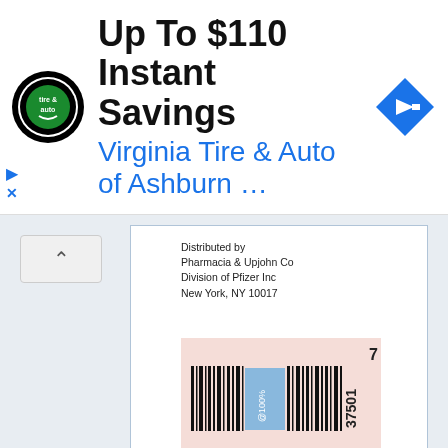[Figure (screenshot): Advertisement banner for Virginia Tire & Auto of Ashburn showing logo, title 'Up To $110 Instant Savings', subtitle 'Virginia Tire & Auto of Ashburn ...', and a blue navigation arrow icon on the right.]
Distributed by
Pharmacia & Upjohn Co
Division of Pfizer Inc
New York, NY 10017
[Figure (other): Partial barcode label on a pink/salmon background with black barcode stripes and partial text '37501' and '@100%' visible.]